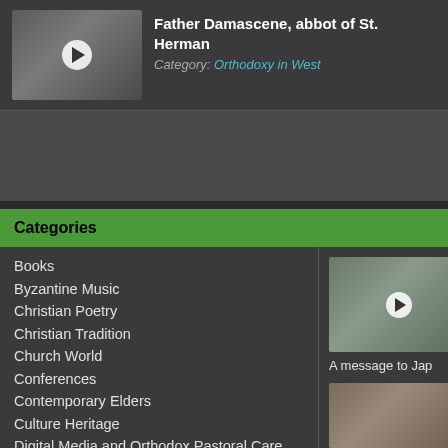[Figure (photo): Thumbnail of Father Damascene with play button overlay]
Father Damascene, abbot of St. Herman
Category: Orthodoxy in West
Categories
Books
Byzantine Music
Christian Poetry
Christian Tradition
Church World
Conferences
Contemporary Elders
Culture Heritage
Digital Media and Orthodox Pastoral Care
Economics
[Figure (photo): Video thumbnail of a person outdoors with play button]
A message to Jap
[Figure (photo): Video thumbnail of a person in religious attire]